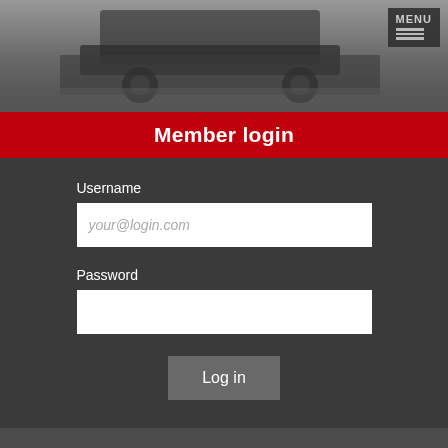[Figure (photo): Hero image showing a dark vehicle/truck on pavement with a MENU button overlay in the top right corner]
Member login
Username
your@login.com
Password
Log in
Centerville Fire/Rescue
[Figure (photo): Partial photo of a firefighter or fire/rescue scene at the bottom of the page]